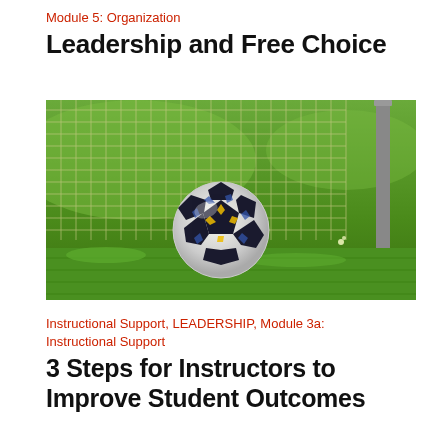Module 5: Organization
Leadership and Free Choice
[Figure (photo): Soccer ball resting on green grass in front of a goal net, with a goal post visible on the right side. Bright sunlit outdoor setting.]
Instructional Support, LEADERSHIP, Module 3a: Instructional Support
3 Steps for Instructors to Improve Student Outcomes